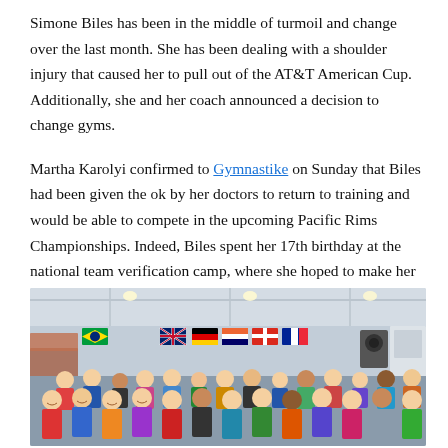Simone Biles has been in the middle of turmoil and change over the last month. She has been dealing with a shoulder injury that caused her to pull out of the AT&T American Cup. Additionally, she and her coach announced a decision to change gyms.
Martha Karolyi confirmed to Gymnastike on Sunday that Biles had been given the ok by her doctors to return to training and would be able to compete in the upcoming Pacific Rims Championships. Indeed, Biles spent her 17th birthday at the national team verification camp, where she hoped to make her case to be named to the Pacific Rims team.
[Figure (photo): Group photo of gymnasts and coaches inside a gymnastics training facility. International flags are visible on the wall in the background. A large group of young female gymnasts are smiling and posing for the camera.]